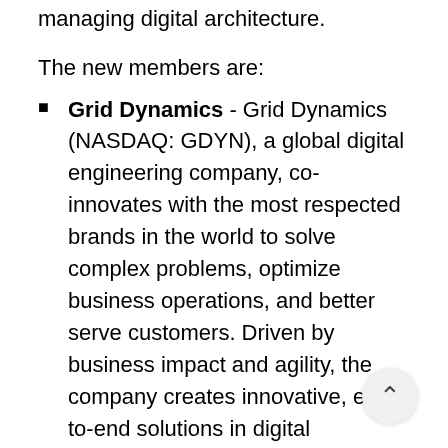managing digital architecture.
The new members are:
Grid Dynamics - Grid Dynamics (NASDAQ: GDYN), a global digital engineering company, co-innovates with the most respected brands in the world to solve complex problems, optimize business operations, and better serve customers. Driven by business impact and agility, the company creates innovative, end-to-end solutions in digital commerce, AI, data, and cloud to help clients grow.
Kin + Carta - Kin + Carta is a global digital transformation consultancy committed to working alongside its clients to build a world that works better for everyone. Its 2,000